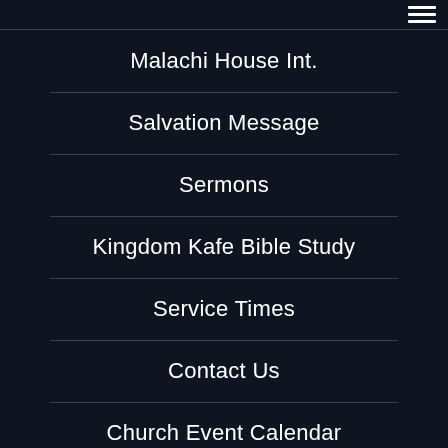[Figure (screenshot): Hamburger menu icon (three horizontal lines) in top-right corner on dark background]
Malachi House Int.
Salvation Message
Sermons
Kingdom Kafe Bible Study
Service Times
Contact Us
Church Event Calendar